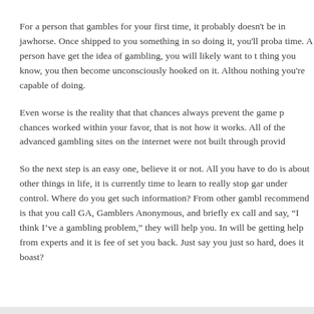For a person that gambles for your first time, it probably doesn't be in jawhorse. Once shipped to you something in so doing it, you'll probably time. A person have get the idea of gambling, you will likely want to thing you know, you then become unconsciously hooked on it. Althou nothing you're capable of doing.
Even worse is the reality that that chances always prevent the game p chances worked within your favor, that is not how it works. All of the advanced gambling sites on the internet were not built through provid
So the next step is an easy one, believe it or not. All you have to do is about other things in life, it is currently time to learn to really stop gar under control. Where do you get such information? From other gambl recommend is that you call GA, Gamblers Anonymous, and briefly ex call and say, "I think I've a gambling problem," they will help you. In will be getting help from experts and it is fee of set you back. Just say you just so hard, does it boast?